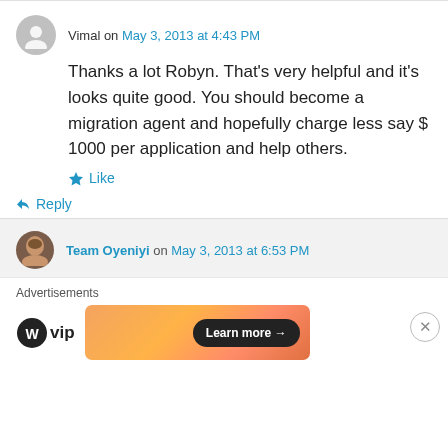Vimal on May 3, 2013 at 4:43 PM
Thanks a lot Robyn. That's very helpful and it's looks quite good. You should become a migration agent and hopefully charge less say $ 1000 per application and help others.
Like
Reply
Team Oyeniyi on May 3, 2013 at 6:53 PM
Advertisements
Learn more →